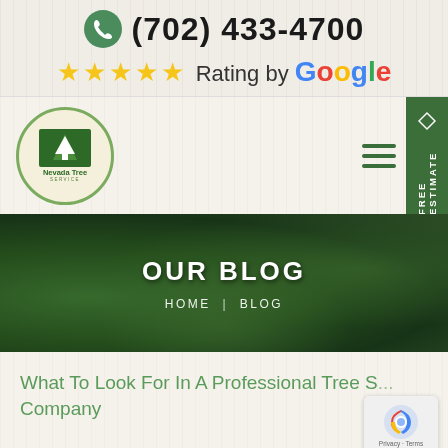(702) 433-4700 — 5-star Rating by Google
[Figure (logo): Nevada Tree Service logo — circular green-bordered logo with tree icon and company name]
[Figure (screenshot): Navigation bar with hamburger menu icon and FREE ESTIMATE vertical tab on right]
[Figure (photo): Green leaves/plants hero banner background image with OUR BLOG heading and HOME | BLOG breadcrumb]
OUR BLOG
HOME  |  BLOG
What To Look For In A Professional Tree S... Company
[Figure (other): reCAPTCHA badge — Privacy Terms]